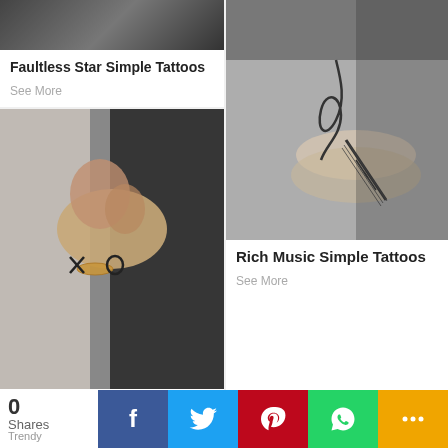[Figure (photo): Partial top of star tattoo photo, dark background]
Faultless Star Simple Tattoos
See More
[Figure (photo): Black and white photo of a music/guitar tattoo on wrist]
Rich Music Simple Tattoos
See More
[Figure (photo): Couple kissing, bride and groom, XO tattoos visible on wrists]
0 Shares Trendy | Facebook | Twitter | Pinterest | WhatsApp | Share